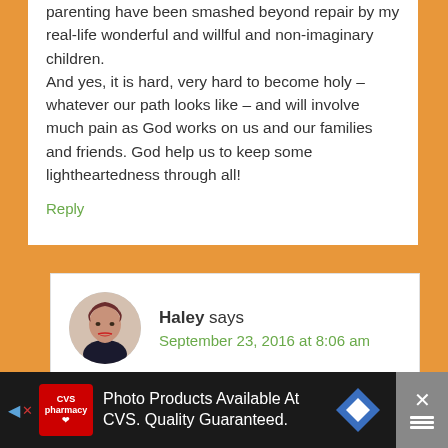parenting have been smashed beyond repair by my real-life wonderful and willful and non-imaginary children.
And yes, it is hard, very hard to become holy – whatever our path looks like – and will involve much pain as God works on us and our families and friends. God help us to keep some lightheartedness through all!
Reply
Haley says
September 23, 2016 at 8:06 am
I saw the funniest meme, Marilyn with a
[Figure (photo): Advertisement banner for CVS Pharmacy: Photo Products Available At CVS. Quality Guaranteed.]